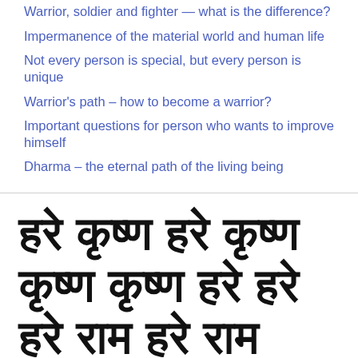Warrior, soldier and fighter — what is the difference?
Impermanence of the material world and human life
Not every person is special, but every person is unique
Warrior's path – how to become a warrior?
Important questions for person who wants to improve himself
Dharma – the eternal path of the living being
[Figure (other): Large Devanagari script text of the Hare Krishna maha-mantra: हरे कृष्ण हरे कृष्ण कृष्ण कृष्ण हरे हरे हरे राम हरे राम]